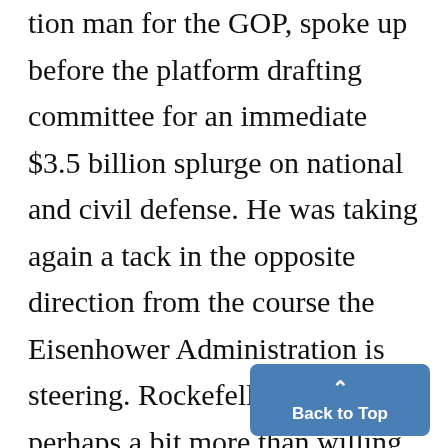tion man for the GOP, spoke up before the platform drafting committee for an immediate $3.5 billion splurge on national and civil defense. He was taking again a tack in the opposite direction from the course the Eisenhower Administration is steering. Rockefeller sounded perhaps a bit more than willing to be drafted for a Presidential nomination which is all but clinched for Nixon.
Wants Truth
The New York governor who